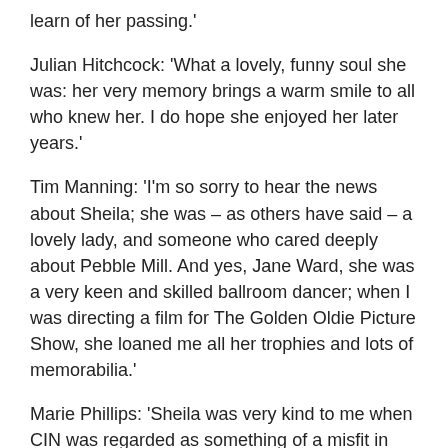learn of her passing.'
Julian Hitchcock: 'What a lovely, funny soul she was: her very memory brings a warm smile to all who knew her. I do hope she enjoyed her later years.'
Tim Manning: 'I'm so sorry to hear the news about Sheila; she was – as others have said – a lovely lady, and someone who cared deeply about Pebble Mill. And yes, Jane Ward, she was a very keen and skilled ballroom dancer; when I was directing a film for The Golden Oldie Picture Show, she loaned me all her trophies and lots of memorabilia.'
Marie Phillips: 'Sheila was very kind to me when CIN was regarded as something of a misfit in the Press Office. Very very efficient. A well deserved MBE.'